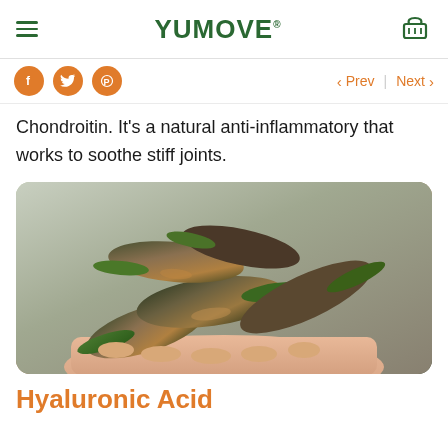YuMOVE
Chondroitin. It's a natural anti-inflammatory that works to soothe stiff joints.
[Figure (photo): A hand holding a pile of green-lipped mussels with dark shells and green edges, photographed outdoors.]
Hyaluronic Acid